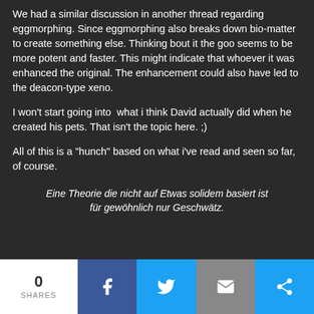We had a similar discussion in another thread regarding eggmorphing. Since eggmorphing also breaks down bio-matter to create something else. Thinking bout it the goo seems to be more potent and faster. This might indicate that whoever it was enhanced the original. The enhancement could also have led to the deacon-type xeno.
I won't start going into  what i think David actually did when he created his pets. That isn't the topic here. ;)
All of this is a "hunch" based on what i've read and seen so far, of course.
Eine Theorie die nicht auf Etwas solidem basiert ist für gewöhnlich nur Geschwätz.
0 SHARES | Facebook share | Twitter share | Email share | Share